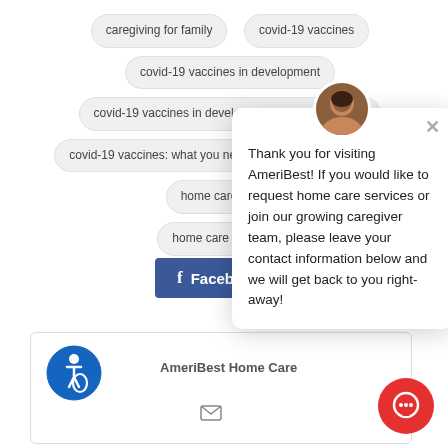caregiving for family
covid-19 vaccines
covid-19 vaccines in development
covid-19 vaccines in development around the world
covid-19 vaccines: what you need to know
eldercare
home care agency
home care agency ne
homecare
[Figure (screenshot): Facebook button and a partial blue social share button]
Thank you for visiting AmeriBest! If you would like to request home care services or join our growing caregiver team, please leave your contact information below and we will get back to you right-away!
AmeriBest Home Care
[Figure (illustration): Accessibility wheelchair icon in blue circle]
[Figure (illustration): Red circular chat button with speech bubble icon]